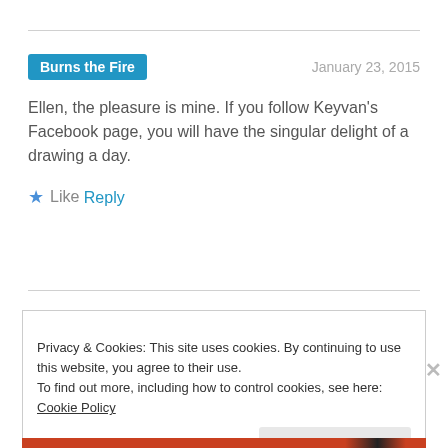Burns the Fire
January 23, 2015
Ellen, the pleasure is mine. If you follow Keyvan's Facebook page, you will have the singular delight of a drawing a day.
★ Like
Reply
Privacy & Cookies: This site uses cookies. By continuing to use this website, you agree to their use.
To find out more, including how to control cookies, see here: Cookie Policy
Close and accept